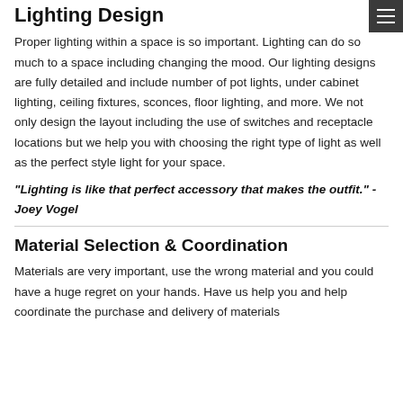Lighting Design
Proper lighting within a space is so important. Lighting can do so much to a space including changing the mood. Our lighting designs are fully detailed and include number of pot lights, under cabinet lighting, ceiling fixtures, sconces, floor lighting, and more. We not only design the layout including the use of switches and receptacle locations but we help you with choosing the right type of light as well as the perfect style light for your space.
“Lighting is like that perfect accessory that makes the outfit.” - Joey Vogel
Material Selection & Coordination
Materials are very important, use the wrong material and you could have a huge regret on your hands. Have us help you and help coordinate the purchase and delivery of materials